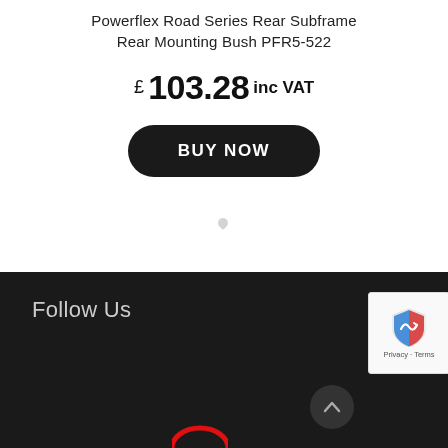Powerflex Road Series Rear Subframe Rear Mounting Bush PFR5-522
£ 103.28 inc VAT
BUY NOW
Follow Us
[Figure (logo): reCAPTCHA badge with blue/red shield icon and Privacy - Terms text]
[Figure (logo): Partial red arc logo at bottom of page]